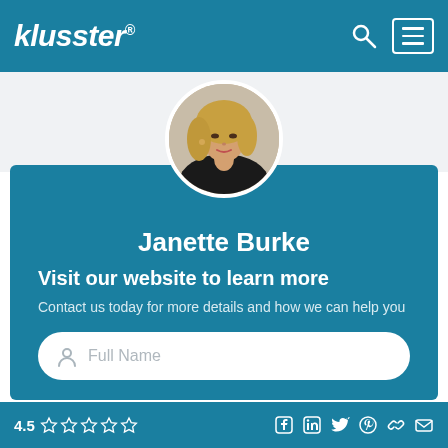klusster®
[Figure (photo): Circular profile photo of Janette Burke, a woman with blonde hair wearing a black top, on a light background]
Janette Burke
Visit our website to learn more
Contact us today for more details and how we can help you
Full Name
4.5 ☆☆☆☆☆